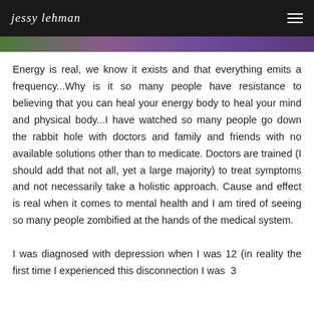jessy lehman
[Figure (photo): Colorful image strip with green, purple and violet hues at the top of the page]
Energy is real, we know it exists and that everything emits a frequency...Why is it so many people have resistance to believing that you can heal your energy body to heal your mind and physical body...I have watched so many people go down the rabbit hole with doctors and family and friends with no available solutions other than to medicate. Doctors are trained (I should add that not all, yet a large majority) to treat symptoms and not necessarily take a holistic approach. Cause and effect is real when it comes to mental health and I am tired of seeing so many people zombified at the hands of the medical system.
I was diagnosed with depression when I was 12 (in reality the first time I experienced this disconnection I was 3